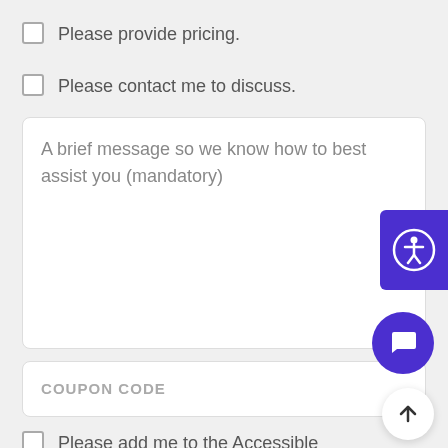Please provide pricing.
Please contact me to discuss.
A brief message so we know how to best assist you (mandatory)
COUPON CODE
Please add me to the Accessible